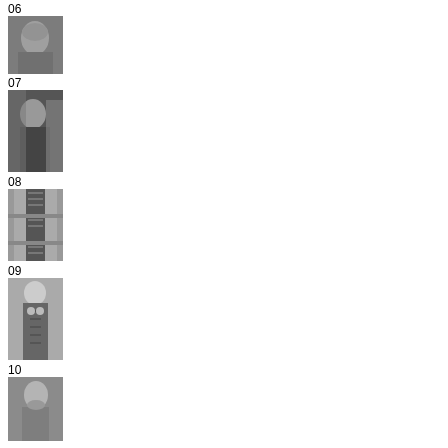06
[Figure (photo): Black and white photo of an elderly man, portrait style]
07
[Figure (photo): Black and white photo of a person in profile, outdoor setting]
08
[Figure (photo): Black and white photo of architectural element, possibly a window or door]
09
[Figure (photo): Black and white photo of a person in robes, possibly a monk or clergy]
10
[Figure (photo): Black and white photo of a young man in profile]
11
[Figure (photo): Black and white photo of a building or architectural structure with foliage]